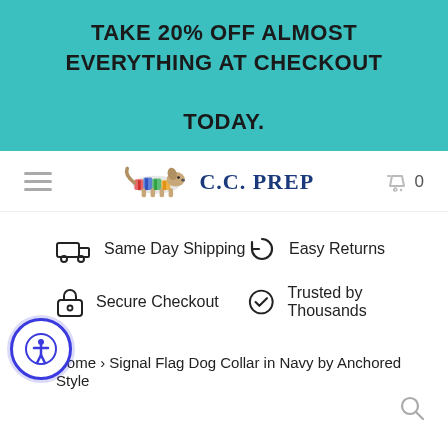TAKE 20% OFF ALMOST EVERYTHING AT CHECKOUT TODAY.
[Figure (logo): C.C. PREP logo with colorful running dog illustration and navy blue text]
Same Day Shipping
Easy Returns
Secure Checkout
Trusted by Thousands
Home › Signal Flag Dog Collar in Navy by Anchored Style